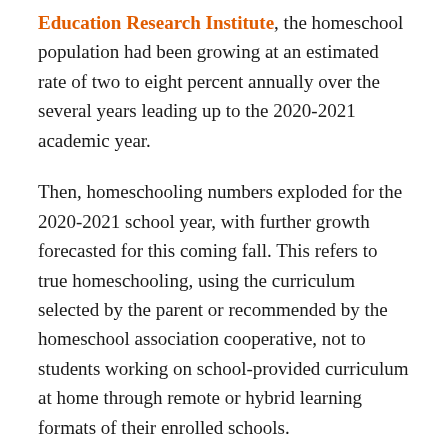Education Research Institute, the homeschool population had been growing at an estimated rate of two to eight percent annually over the several years leading up to the 2020-2021 academic year.
Then, homeschooling numbers exploded for the 2020-2021 school year, with further growth forecasted for this coming fall. This refers to true homeschooling, using the curriculum selected by the parent or recommended by the homeschool association cooperative, not to students working on school-provided curriculum at home through remote or hybrid learning formats of their enrolled schools.
Homeschool numbers skyrocket to 11% of